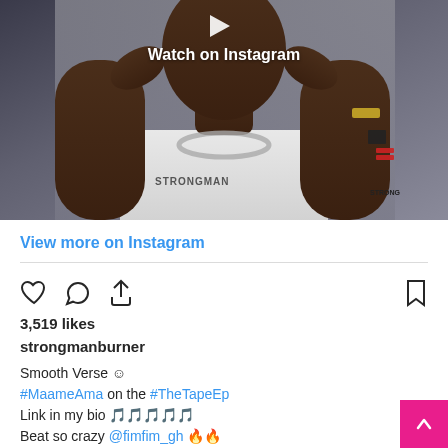[Figure (photo): Instagram post photo showing a person (strongmanburner) in a white Strongman branded shirt with chain necklace and watch, hands raised near face. Text overlay reads 'Watch on Instagram'.]
Watch on Instagram
View more on Instagram
3,519 likes
strongmanburner
Smooth Verse 😊
#MaameAma on the #TheTapeEp
Link in my bio 🎵🎵🎵🎵🎵
Beat so crazy @fimfim_gh 🔥🔥
view all 123 comments